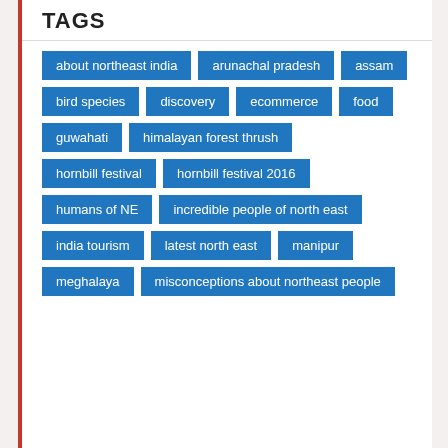TAGS
about northeast india
arunachal pradesh
assam
bird species
discovery
ecommerce
food
guwahati
himalayan forest thrush
hornbill festival
hornbill festival 2016
humans of NE
incredible people of north east
india tourism
latest north east
manipur
meghalaya
misconceptions about northeast people